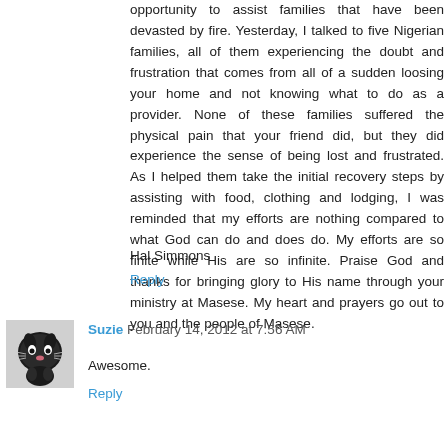opportunity to assist families that have been devasted by fire. Yesterday, I talked to five Nigerian families, all of them experiencing the doubt and frustration that comes from all of a sudden loosing your home and not knowing what to do as a provider. None of these families suffered the physical pain that your friend did, but they did experience the sense of being lost and frustrated. As I helped them take the initial recovery steps by assisting with food, clothing and lodging, I was reminded that my efforts are nothing compared to what God can do and does do. My efforts are so finite while His are so infinite. Praise God and thanks for bringing glory to His name through your ministry at Masese. My heart and prayers go out to you and the people of Masese.
Hal Simmons
Reply
[Figure (photo): Small avatar photo of a black and white cat]
Suzie February 14, 2012 at 7:56 AM
Awesome.
Reply